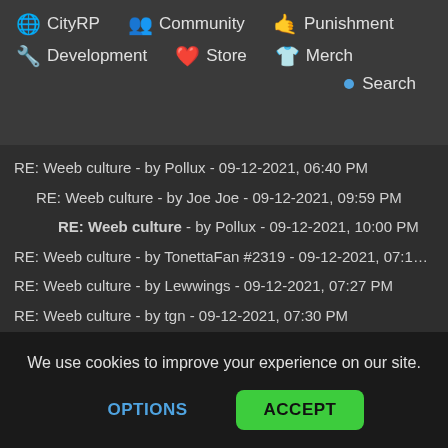🌐 CityRP  👥 Community  🤙 Punishment  🔧 Development  ❤️ Store  👕 Merch
RE: Weeb culture - by Pollux - 09-12-2021, 06:40 PM
RE: Weeb culture - by Joe Joe - 09-12-2021, 09:59 PM
RE: Weeb culture - by Pollux - 09-12-2021, 10:00 PM
RE: Weeb culture - by TonettaFan #2319 - 09-12-2021, 07:12 PM
RE: Weeb culture - by Lewwings - 09-12-2021, 07:27 PM
RE: Weeb culture - by tgn - 09-12-2021, 07:30 PM
RE: Weeb culture - by jhayw - 09-12-2021, 09:40 PM
RE: Weeb culture - by Conn - 09-12-2021, 09:47 PM
RE: Weeb culture - by Haarek - 09-12-2021, 10:13 PM
RE: Weeb culture - by Ryan - 09-13-2021, 12:42 AM
RE: Weeb culture - by DVN - 09-13-2021, 02:29 PM
RE: Weeb culture - by Ratatoskrr - 09-13-2021, 04:33 PM
We use cookies to improve your experience on our site.
OPTIONS  ACCEPT